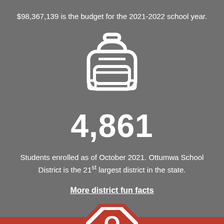$98,367,139 is the budget for the 2021-2022 school year.
[Figure (illustration): White backpack/school bag icon on grey background]
4,861
Students enrolled as of October 2021. Ottumwa School District is the 21st largest district in the state.
More district fun facts
[Figure (logo): Ottumwa School District logo - red octagon with white O and bear/bulldog mascot, partially visible at bottom]